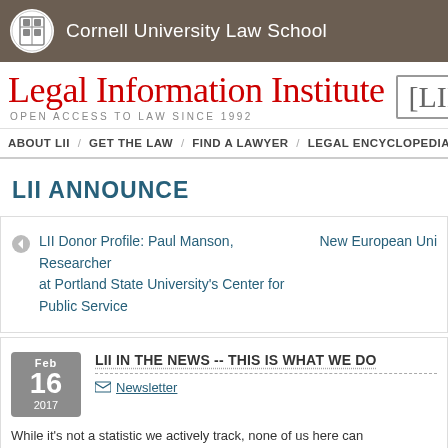Cornell University Law School
Legal Information Institute — OPEN ACCESS TO LAW SINCE 1992
ABOUT LII / GET THE LAW / FIND A LAWYER / LEGAL ENCYCLOPEDIA / HE
LII ANNOUNCE
LII Donor Profile: Paul Manson, Researcher at Portland State University's Center for Public Service
New European Uni
Feb 16 2017 — LII IN THE NEWS -- THIS IS WHAT WE DO — Newsletter
While it's not a statistic we actively track, none of us here can